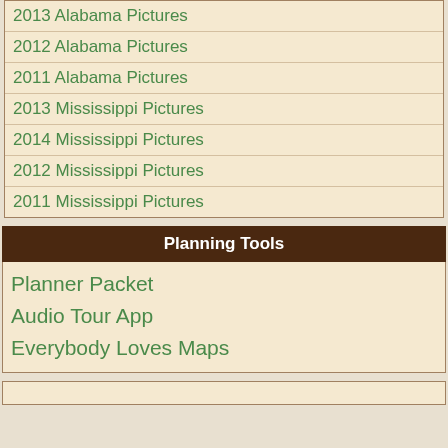2013 Alabama Pictures
2012 Alabama Pictures
2011 Alabama Pictures
2013 Mississippi Pictures
2014 Mississippi Pictures
2012 Mississippi Pictures
2011 Mississippi Pictures
Planning Tools
Planner Packet
Audio Tour App
Everybody Loves Maps
Copyright © 2022 NatchezTraceTravel.com. All Rights Reserved.